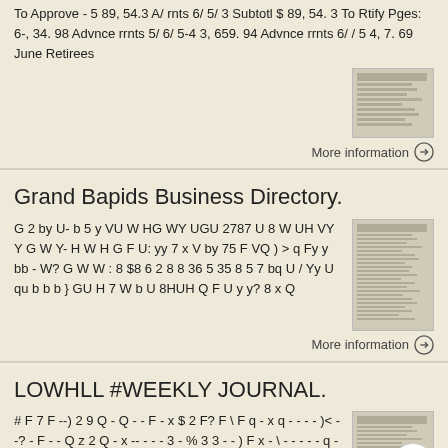To Approve - 5 89, 54.3 A/ rnts 6/ 5/ 3 Subtotl $ 89, 54. 3 To Rtify Pges: 6-, 34. 98 Advnce rrnts 5/ 6/ 5-4 3, 659. 94 Advnce rrnts 6/ / 5 4, 7. 69 June Retirees
More information →
Grand Bapids Business Directory.
G 2 by U- b 5 y VU W HG WY UGU 2787 U 8 W UH VY Y G W Y- H W H G F U: yy 7 x V by 75 F VQ ) > q Fy y bb - W? G W W : 8 $8 6 2 8 8 36 5 35 8 5 7 bq U / Yy U qu b b b } GU H 7 W b U 8HUH Q F U y y? 8 x Q
More information →
LOWHLL #WEEKLY JOURNAL.
# F 7 F --) 2 9 Q - Q - - F - x $ 2 F? F \ F q - x q - - - - )< - -? - F - - Q z 2 Q - x -- - - - 3 - % 3 3 - - ) F x - \ - - - - - q - q - - - - -z- < F 7-7-